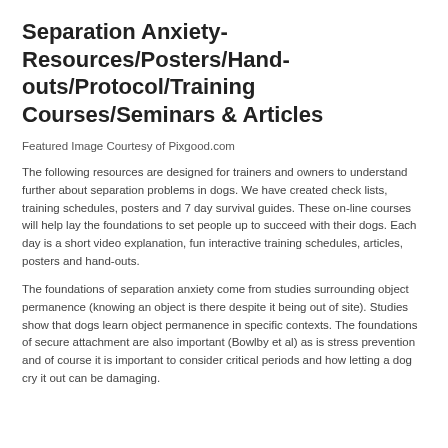Separation Anxiety- Resources/Posters/Handouts/Protocol/Training Courses/Seminars & Articles
Featured Image Courtesy of Pixgood.com
The following resources are designed for trainers and owners to understand further about separation problems in dogs. We have created check lists, training schedules, posters and 7 day survival guides. These on-line courses will help lay the foundations to set people up to succeed with their dogs. Each day is a short video explanation, fun interactive training schedules, articles, posters and hand-outs.
The foundations of separation anxiety come from studies surrounding object permanence (knowing an object is there despite it being out of site). Studies show that dogs learn object permanence in specific contexts. The foundations of secure attachment are also important (Bowlby et al) as is stress prevention and of course it is important to consider critical periods and how letting a dog cry it out can be damaging.